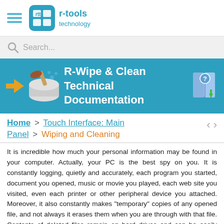r-tools technology
Search...
[Figure (illustration): R-Wipe & Clean Technical Documentation banner with software icon and help book icon on a blue background]
Home > Touch Interface: Main Panel > Wiping and Cleaning
It is incredible how much your personal information may be found in your computer. Actually, your PC is the best spy on you. It is constantly logging, quietly and accurately, each program you started, document you opened, music or movie you played, each web site you visited, even each printer or other peripheral device you attached. Moreover, it also constantly makes "temporary" copies of any opened file, and not always it erases them when you are through with that file. Contents of deleted files remain on hard drives and can be easily brought back using inexpensive and easily available data recovery utilities. Anyone who can snoop into your computer could make quite an exact profile of you. Such snooping